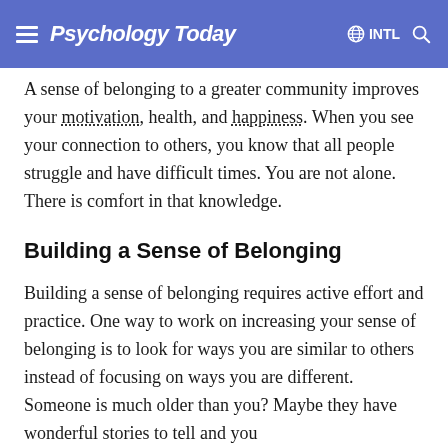Psychology Today  INTL
A sense of belonging to a greater community improves your motivation, health, and happiness. When you see your connection to others, you know that all people struggle and have difficult times. You are not alone. There is comfort in that knowledge.
Building a Sense of Belonging
Building a sense of belonging requires active effort and practice. One way to work on increasing your sense of belonging is to look for ways you are similar to others instead of focusing on ways you are different. Someone is much older than you? Maybe they have wonderful stories to tell and you